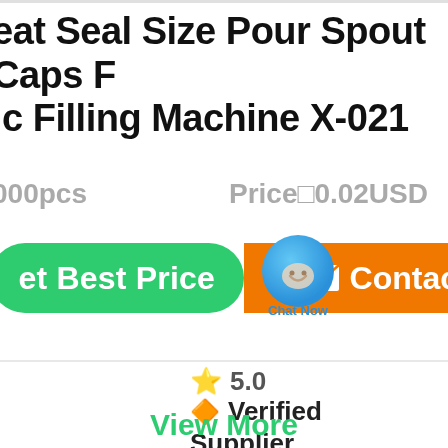eat Seal Size Pour Spout Caps for Automatic Filling Machine X-021
000pcs   Price  0.02USD
[Figure (screenshot): Green 'Get Best Price' button, chat bubble overlay, and orange 'Contact' button]
5.0
Verified
Supplier
View More